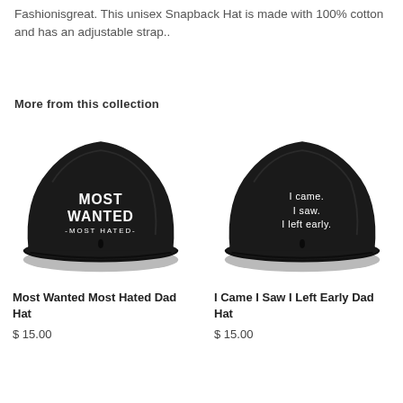Fashionisgreat. This unisex Snapback Hat is made with 100% cotton and has an adjustable strap..
More from this collection
[Figure (photo): Black dad hat with 'MOST WANTED -MOST HATED-' embroidered in white text]
Most Wanted Most Hated Dad Hat
$ 15.00
[Figure (photo): Black dad hat with 'I came. I saw. I left early.' embroidered in white text]
I Came I Saw I Left Early Dad Hat
$ 15.00